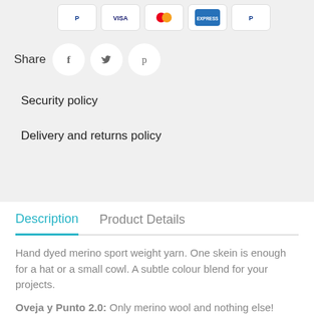[Figure (other): Payment method icons: PayPal, Visa, Mastercard, American Express, PayPal]
Share
[Figure (other): Social sharing icons: Facebook, Twitter, Pinterest in white circles]
Security policy
Delivery and returns policy
Description
Product Details
Hand dyed merino sport weight yarn. One skein is enough for a hat or a small cowl. A subtle colour blend for your projects.
Oveja y Punto 2.0: Only merino wool and nothing else! Enjoy its softness!